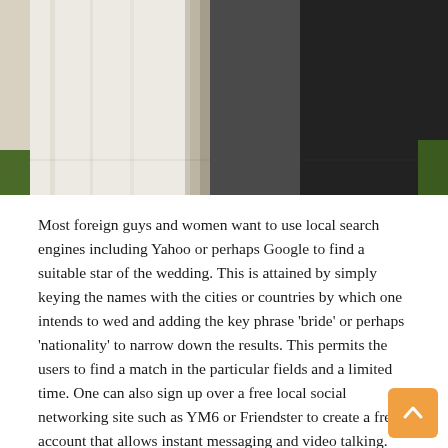[Figure (photo): Wedding photo showing a bride in white dress/veil on the left and a groom in dark suit on the right, partially cut off at the bottom]
Most foreign guys and women want to use local search engines including Yahoo or perhaps Google to find a suitable star of the wedding. This is attained by simply keying the names with the cities or countries by which one intends to wed and adding the key phrase 'bride' or perhaps 'nationality' to narrow down the results. This permits the users to find a match in the particular fields and a limited time. One can also sign up over a free local social networking site such as YM6 or Friendster to create a free account that allows instant messaging and video talking. These expertise offer wonderful possibilities to find-bride by making use of local companies that specialize in finding brides and foreigners.
The biggest advantage of web based free online video chat is that it permits the users to discover a possible spouse from around the globe at any time. Through this method, a guy can communicate